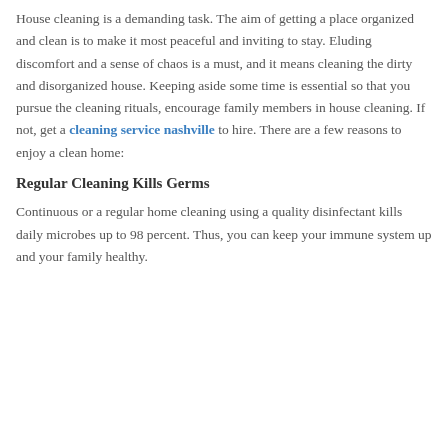House cleaning is a demanding task. The aim of getting a place organized and clean is to make it most peaceful and inviting to stay. Eluding discomfort and a sense of chaos is a must, and it means cleaning the dirty and disorganized house. Keeping aside some time is essential so that you pursue the cleaning rituals, encourage family members in house cleaning. If not, get a cleaning service nashville to hire. There are a few reasons to enjoy a clean home:
Regular Cleaning Kills Germs
Continuous or a regular home cleaning using a quality disinfectant kills daily microbes up to 98 percent. Thus, you can keep your immune system up and your family healthy.